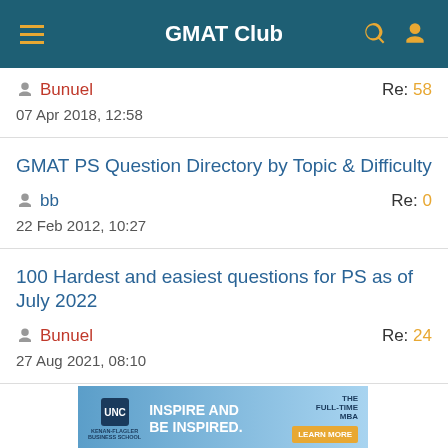GMAT Club
Bunuel    Re: 58
07 Apr 2018, 12:58
GMAT PS Question Directory by Topic & Difficulty
bb    Re: 0
22 Feb 2012, 10:27
100 Hardest and easiest questions for PS as of July 2022
Bunuel    Re: 24
27 Aug 2021, 08:10
[Figure (infographic): UNC Kenan-Flagler Business School advertisement banner: INSPIRE AND BE INSPIRED. THE FULL-TIME MBA. LEARN MORE button.]